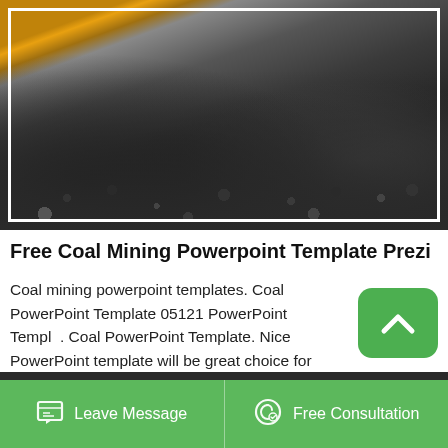[Figure (photo): Yellow front-end loader scooping coal/gravel at a mining site, large pile of dark stones/coal in foreground and background]
Free Coal Mining Powerpoint Template Prezi
Coal mining powerpoint templates. Coal PowerPoint Template 05121 PowerPoint Template. Coal PowerPoint Template. Nice PowerPoint template will be great choice for presentations on energy Oil mining - Templates for powerpoint. Oil mining - Powerpoint Template All Slides. Download Oil mining Background Presentation Themes. Tags.
Leave Message   Free Consultation